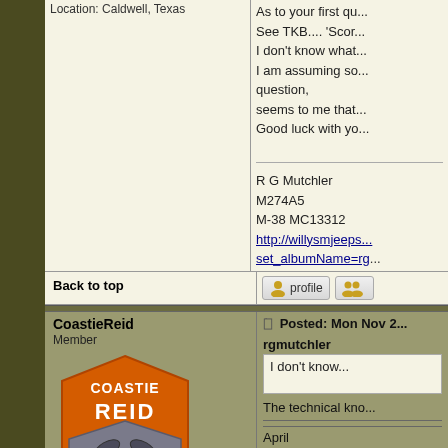Location: Caldwell, Texas
As to your first question, See TKB.... 'Scor... I don't know what... I am assuming so... question, seems to me that... Good luck with yo...
R G Mutchler
M274A5
M-38 MC13312
http://willysmjeeps....
set_albumName=rg...
Back to top
[Figure (other): Profile button icon and group/friends icon button]
CoastieReid
Member
[Figure (logo): CoastieReid shield logo with orange shield, propeller icon, text COASTIE REID]
Joined: Nov 28, 2019
Posts: 317
Location: Yorktown Virginia
Posted: Mon Nov 2...
rgmutchler
I don't know...
The technical kno...
April